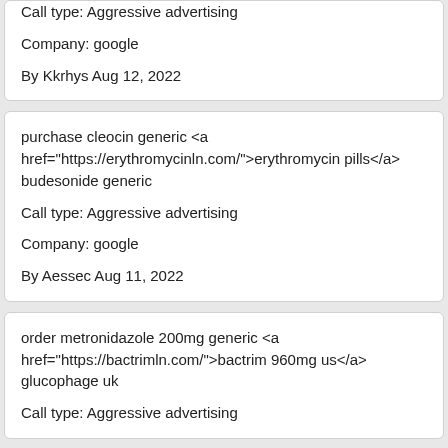Call type: Aggressive advertising

Company: google

By Kkrhys Aug 12, 2022
purchase cleocin generic <a href="https://erythromycinln.com/">erythromycin pills</a> budesonide generic

Call type: Aggressive advertising

Company: google

By Aessec Aug 11, 2022
order metronidazole 200mg generic <a href="https://bactrimln.com/">bactrim 960mg us</a> glucophage uk

Call type: Aggressive advertising